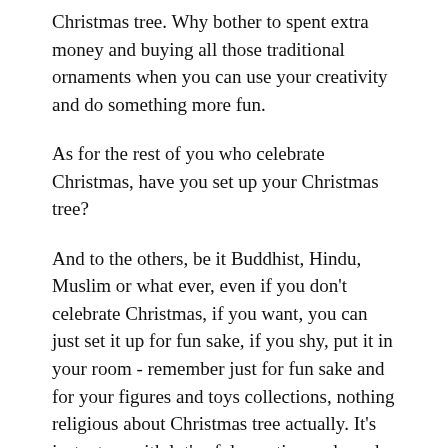Christmas tree. Why bother to spent extra money and buying all those traditional ornaments when you can use your creativity and do something more fun.
As for the rest of you who celebrate Christmas, have you set up your Christmas tree?
And to the others, be it Buddhist, Hindu, Muslim or what ever, even if you don't celebrate Christmas, if you want, you can just set it up for fun sake, if you shy, put it in your room - remember just for fun sake and for your figures and toys collections, nothing religious about Christmas tree actually. It's just a tree with lot's of decoration and maybe lights, children loves it.
In fact Christmas tree is never part of Christianity. It is just some sort of idea that appear several hundred (or maybe thousand) years ago by some people somewhere who wanted to have something nice to see inside the